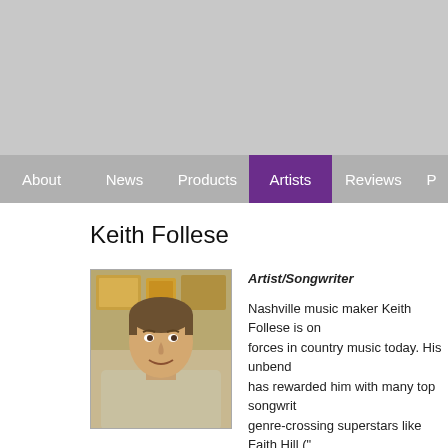[Figure (photo): Gray banner/header image placeholder at top of page]
About  News  Products  Artists  Reviews  P...
Keith Follese
[Figure (photo): Photo of Keith Follese, a man smiling, with framed gold records visible on wall behind him]
Artist/Songwriter

Nashville music maker Keith Follese is one of the creative forces in country music today. His unbending pursuit of excellence has rewarded him with many top songwriting credits with genre-crossing superstars like Faith Hill ("Something Like That"), Martina McBride, Texas. His ability to successfully stretch beyond the leading edge in today's evolving music ind...